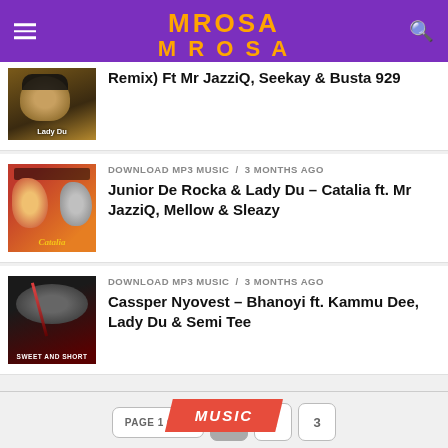MROSA
[Figure (screenshot): Thumbnail of Lady Du artist photo with sunglasses]
Remix) Ft Mr JazziQ, Seekay & Busta 929
DOWNLOAD MP3 MUSIC / 3 months ago
[Figure (screenshot): Thumbnail of Catalia album cover with two artists on red background]
Junior De Rocka & Lady Du – Catalia ft. Mr JazziQ, Mellow & Sleazy
DOWNLOAD MP3 MUSIC / 3 months ago
[Figure (screenshot): Thumbnail of Sweet and Short album cover with dark background]
Cassper Nyovest – Bhanoyi ft. Kammu Dee, Lady Du & Semi Tee
PAGE 1 OF 3  1  2  3
MUSIC